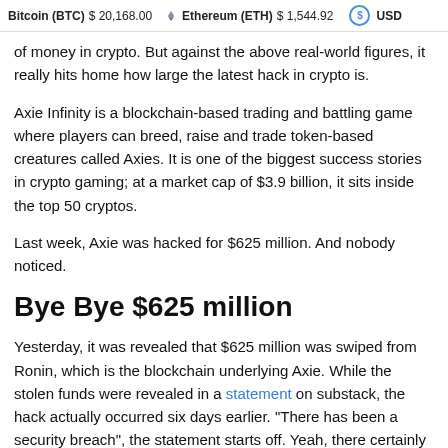Bitcoin (BTC) $20,168.00  Ethereum (ETH) $1,544.92  USD
of money in crypto. But against the above real-world figures, it really hits home how large the latest hack in crypto is.
Axie Infinity is a blockchain-based trading and battling game where players can breed, raise and trade token-based creatures called Axies. It is one of the biggest success stories in crypto gaming; at a market cap of $3.9 billion, it sits inside the top 50 cryptos.
Last week, Axie was hacked for $625 million. And nobody noticed.
Bye Bye $625 million
Yesterday, it was revealed that $625 million was swiped from Ronin, which is the blockchain underlying Axie. While the stolen funds were revealed in a statement on substack, the hack actually occurred six days earlier. "There has been a security breach", the statement starts off. Yeah, there certainly has.